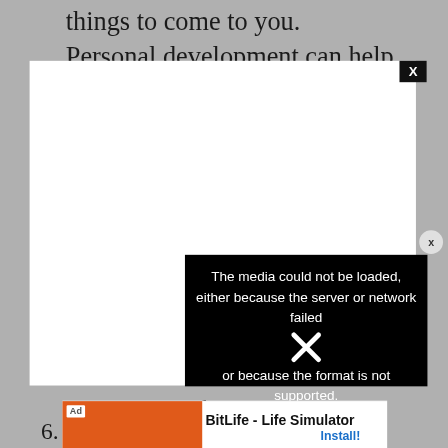things to come to you.
Personal development can help your career,
[Figure (other): A video player modal dialog with a white background and a black close (X) button in the top-right corner. The video failed to load, showing a black error panel with the message: 'The media could not be loaded, either because the server or network failed or because the format is not supported.' A circular X dismiss button appears on the right side of the modal.]
on correcting the
6.
[Figure (other): Advertisement bar at the bottom of the page showing a red/orange banner ad for 'BitLife - Life Simulator' with an Install button.]